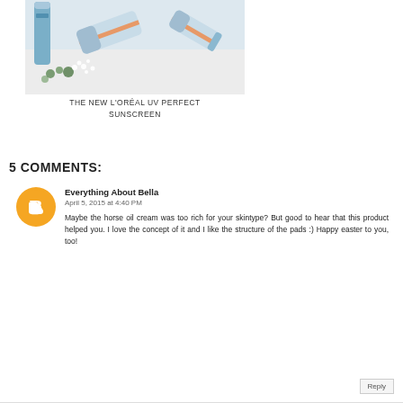[Figure (photo): Photo of L'Oréal UV Perfect sunscreen products (tubes and bottles) with white flowers on a light background]
THE NEW L'ORÉAL UV PERFECT SUNSCREEN
5 COMMENTS:
[Figure (logo): Orange circular Blogger avatar icon with white 'B' letter]
Everything About Bella
April 5, 2015 at 4:40 PM
Maybe the horse oil cream was too rich for your skintype? But good to hear that this product helped you. I love the concept of it and I like the structure of the pads :) Happy easter to you, too!